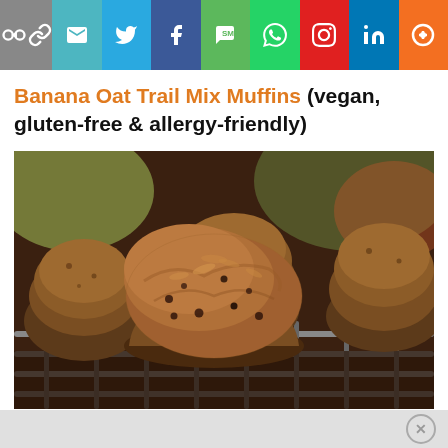[Figure (other): Social media share bar with icons: link, email, Twitter, Facebook, SMS, WhatsApp, Pinterest, LinkedIn, More]
Banana Oat Trail Mix Muffins (vegan, gluten-free & allergy-friendly)
[Figure (photo): Close-up photo of banana oat trail mix muffins cooling on a wire rack, with a blurred colorful background. The muffins are golden-brown with visible mix-ins.]